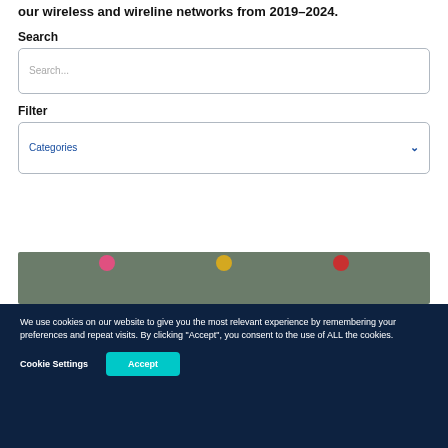our wireless and wireline networks from 2019–2024.
Search
Search...
Filter
Categories
[Figure (photo): Partial view of a dark green board with decorative flowers (pink, yellow, red) attached to it.]
We use cookies on our website to give you the most relevant experience by remembering your preferences and repeat visits. By clicking "Accept", you consent to the use of ALL the cookies.
Cookie Settings
Accept